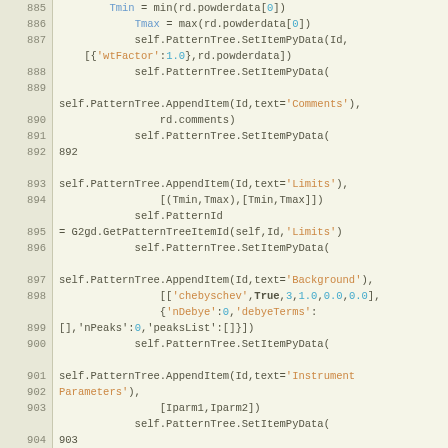[Figure (screenshot): Python source code editor showing lines 885-907 with syntax highlighting. Code involves PatternTree operations including SetItemPyData, AppendItem calls with various parameters like wtFactor, Comments, Limits, Background, Instrument Parameters, Sample Parameters, and Peak List.]